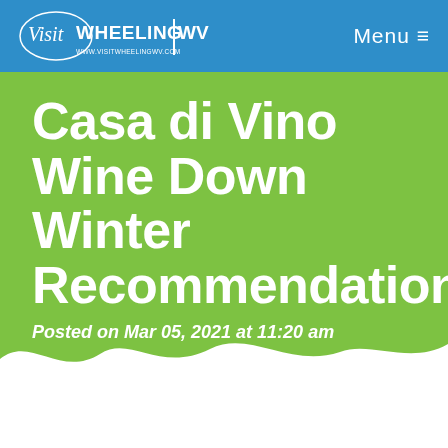Visit WHEELING WV — Menu ≡
Casa di Vino Wine Down Winter Recommendations
Posted on Mar 05, 2021 at 11:20 am